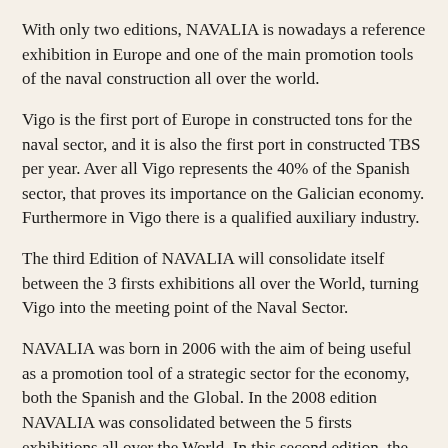With only two editions, NAVALIA is nowadays a reference exhibition in Europe and one of the main promotion tools of the naval construction all over the world.
Vigo is the first port of Europe in constructed tons for the naval sector, and it is also the first port in constructed TBS per year. Aver all Vigo represents the 40% of the Spanish sector, that proves its importance on the Galician economy. Furthermore in Vigo there is a qualified auxiliary industry.
The third Edition of NAVALIA will consolidate itself between the 3 firsts exhibitions all over the World, turning Vigo into the meeting point of the Naval Sector.
NAVALIA was born in 2006 with the aim of being useful as a promotion tool of a strategic sector for the economy, both the Spanish and the Global. In the 2008 edition NAVALIA was consolidated between the 5 firsts exhibitions all over the World. In this second edition, the participation of international companies, the growth of exhibitors (33%) and visitors (20,000 professionals worldwide) had motivated us to continue improving in order to offer you a suitable environment for your company.